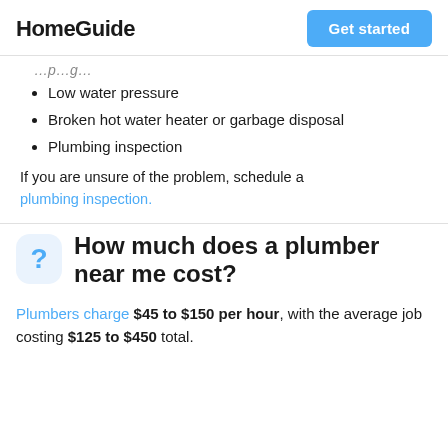HomeGuide | Get started
Low water pressure
Broken hot water heater or garbage disposal
Plumbing inspection
If you are unsure of the problem, schedule a plumbing inspection.
How much does a plumber near me cost?
Plumbers charge $45 to $150 per hour, with the average job costing $125 to $450 total.